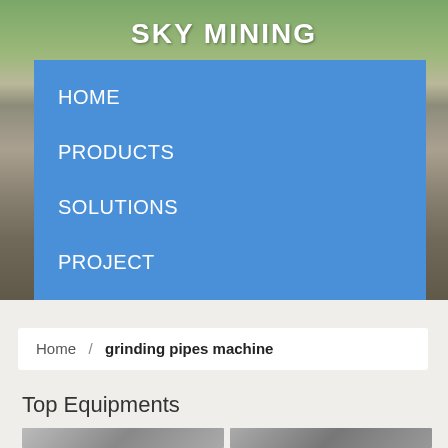SKY MINING
HOME
PRODUCTS
SOLUTIONS
PROJECT
ABOUT
CONTACT
Home / grinding pipes machine
Top Equipments
[Figure (photo): Two industrial mining equipment photos shown side by side at the bottom of the page]